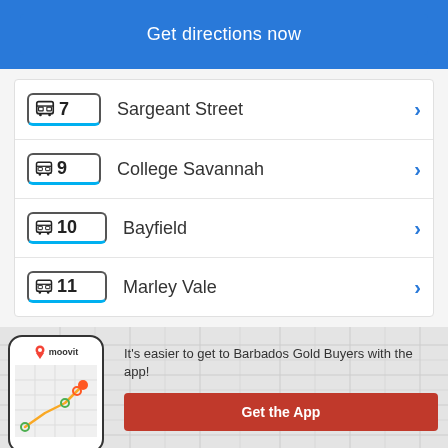Get directions now
7  Sargeant Street
9  College Savannah
10  Bayfield
11  Marley Vale
It's easier to get to Barbados Gold Buyers with the app!
Get the App